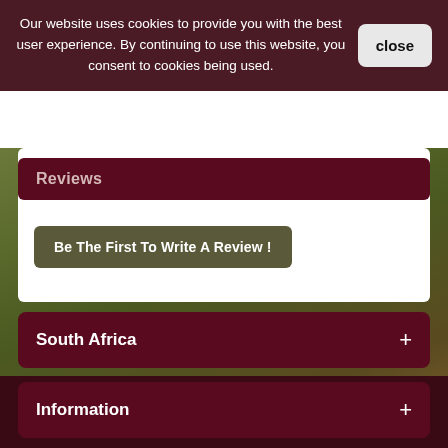Our website uses cookies to provide you with the best user experience. By continuing to use this website, you consent to cookies being used.
Reviews
Be The First To Write A Review !
South Africa +
Information +
New Products +
My Account